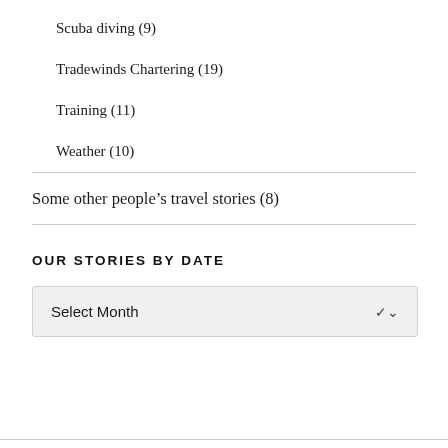Scuba diving (9)
Tradewinds Chartering (19)
Training (11)
Weather (10)
Some other people’s travel stories (8)
OUR STORIES BY DATE
Select Month